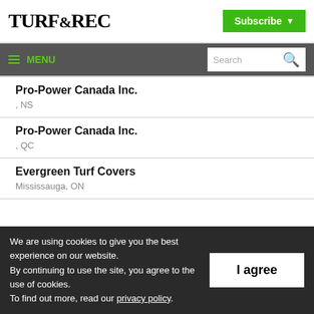TURF&REC
Subscribe
MENU  Search
Pro-Power Canada Inc.
, NS
Pro-Power Canada Inc.
, QC
Evergreen Turf Covers
Mississauga, ON
We are using cookies to give you the best experience on our website.
By continuing to use the site, you agree to the use of cookies.
To find out more, read our privacy policy.
I agree